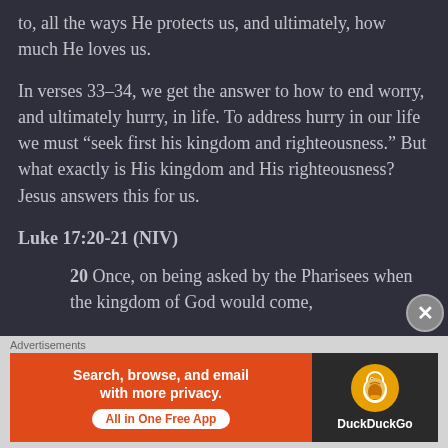to, all the ways He protects us, and ultimately, how much He loves us.
In verses 33–34, we get the answer to how to end worry, and ultimately hurry, in life. To address hurry in our life we must “seek first his kingdom and righteousness.” But what exactly is His kingdom and His righteousness? Jesus answers this for us.
Luke 17:20-21 (NIV)
20 Once, on being asked by the Pharisees when the kingdom of God would come,
[Figure (screenshot): DuckDuckGo advertisement banner: orange left panel with text 'Search, browse, and email with more privacy. All in One Free App', and dark right panel with DuckDuckGo logo and name.]